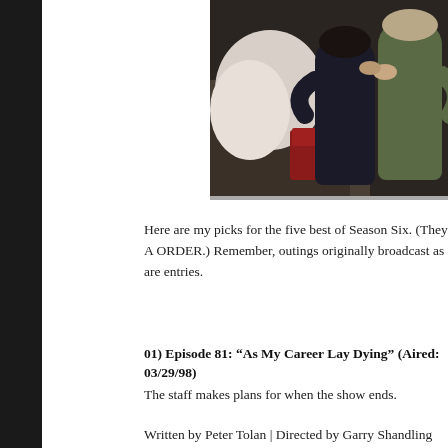[Figure (photo): Two people embracing, one in dark clothing and one in olive/green jacket, in an indoor setting with stairs and a red chair visible in the background. A white cloth or sheet is visible on the left.]
Here are my picks for the five best of Season Six. (They are in A ORDER.) Remember, outings originally broadcast as an hour are entries.
01) Episode 81: “As My Career Lay Dying” (Aired: 03/29/98)
The staff makes plans for when the show ends.
Written by Peter Tolan | Directed by Garry Shandling